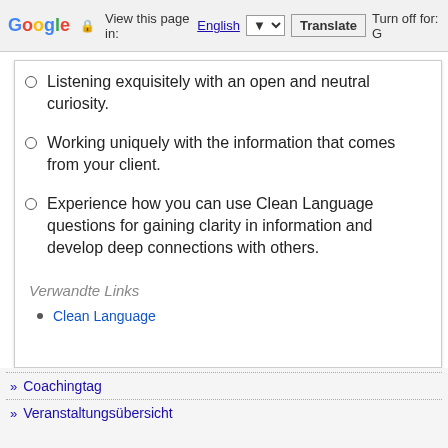Google Translate bar — View this page in: English | Translate | Turn off for: G
Listening exquisitely with an open and neutral curiosity.
Working uniquely with the information that comes from your client.
Experience how you can use Clean Language questions for gaining clarity in information and develop deep connections with others.
Verwandte Links
Clean Language
» Coachingtag
» Veranstaltungsübersicht